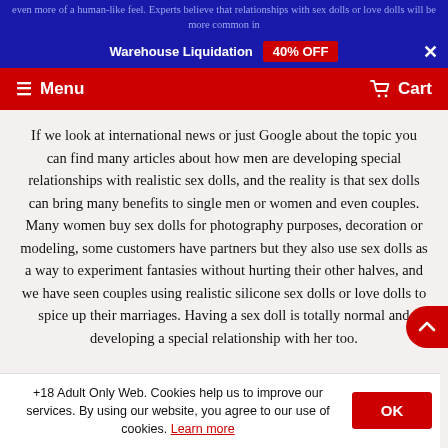even more of a human-like feel. Experts believe that relationships with sex dolls or love dolls will be more common in
Warehouse Liquidation  40% OFF  ×
☰ Menu   🛒 Cart
If we look at international news or just Google about the topic you can find many articles about how men are developing special relationships with realistic sex dolls, and the reality is that sex dolls can bring many benefits to single men or women and even couples. Many women buy sex dolls for photography purposes, decoration or modeling, some customers have partners but they also use sex dolls as a way to experiment fantasies without hurting their other halves, and we have seen couples using realistic silicone sex dolls or love dolls to spice up their marriages. Having a sex doll is totally normal and developing a special relationship with her too.
+18 Adult Only Web. Cookies help us to improve our services. By using our website, you agree to our use of cookies. Learn more   OK